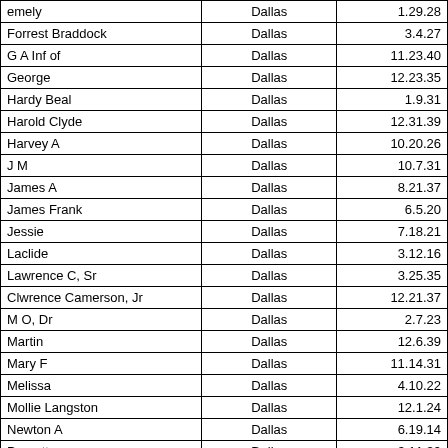| emely | Dallas | 1.29.28 |
| Forrest Braddock | Dallas | 3.4.27 |
| G A Inf of | Dallas | 11.23.40 |
| George | Dallas | 12.23.35 |
| Hardy Beal | Dallas | 1.9.31 |
| Harold Clyde | Dallas | 12.31.39 |
| Harvey A | Dallas | 10.20.26 |
| J M | Dallas | 10.7.31 |
| James A | Dallas | 8.21.37 |
| James Frank | Dallas | 6.5.20 |
| Jessie | Dallas | 7.18.21 |
| Laclide | Dallas | 3.12.16 |
| Lawrence C, Sr | Dallas | 3.25.35 |
| Clwrence Camerson, Jr | Dallas | 12.21.37 |
| M O, Dr | Dallas | 2.7.23 |
| Martin | Dallas | 12.6.39 |
| Mary F | Dallas | 11.14.31 |
| Melissa | Dallas | 4.10.22 |
| Mollie Langston | Dallas | 12.1.24 |
| Newton A | Dallas | 6.19.14 |
| Prunette | Dallas | 3.11.39 |
| Rossie Lee | Dallas | 11.1.32 |